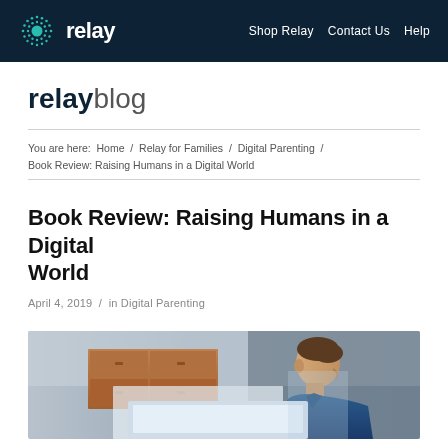relay  Shop Relay  Contact Us  Help
relayblog
You are here:  Home / Relay for Families / Digital Parenting / Book Review: Raising Humans in a Digital World
Book Review: Raising Humans in a Digital World
April 4, 2019 / in Digital Parenting
[Figure (photo): Side profile of a child looking at a screen, wearing a blue jacket, with a wooden dresser in the background. Moody, soft-focus photography.]